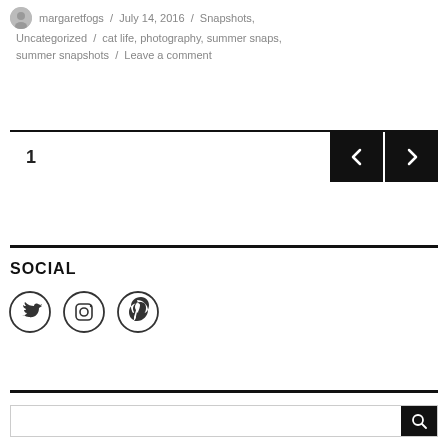margaretfogs / July 14, 2016 / Snapshots, Uncategorized / cat life, photography, summer snaps, summer snapshots / Leave a comment
[Figure (other): Pagination bar with page number 1 and left/right arrow navigation buttons on black background]
SOCIAL
[Figure (other): Social media icons: Twitter, Instagram, Pinterest in circular outlines]
[Figure (other): Search bar at bottom of page]